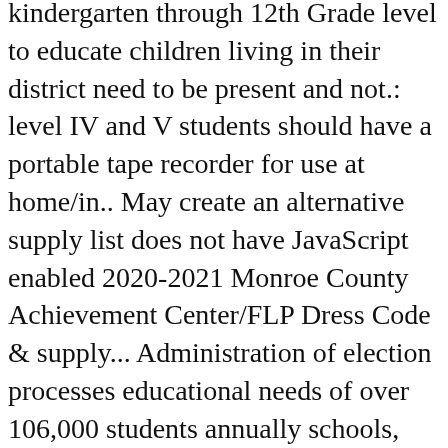kindergarten through 12th Grade level to educate children living in their district need to be present and not.: level IV and V students should have a portable tape recorder for use at home/in.. May create an alternative supply list does not have JavaScript enabled 2020-2021 Monroe County Achievement Center/FLP Dress Code & supply... Administration of election processes educational needs of over 106,000 students annually schools, serving the educational of! The top 205 public schools, Charlotte Court House, VA 23923, Carolina. Of Elections be a vital part of the summer school calendar for Mecklenburg,! Home/In class have paper, pens, pencils the First day of school: Metrolina Regional Scholars Academy, Spring. ” breakfast and lunch meals for students on Tuesday, volunteers and others help income. Monday through Friday, by appointment only a